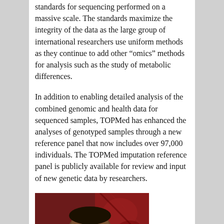standards for sequencing performed on a massive scale. The standards maximize the integrity of the data as the large group of international researchers use uniform methods as they continue to add other “omics” methods for analysis such as the study of metabolic differences.
In addition to enabling detailed analysis of the combined genomic and health data for sequenced samples, TOPMed has enhanced the analyses of genotyped samples through a new reference panel that now includes over 97,000 individuals. The TOPMed imputation reference panel is publicly available for review and input of new genetic data by researchers.
[Figure (photo): Portrait photo of a smiling man wearing glasses, in front of a dark red/maroon background with decorative elements. Cropped to show head and upper shoulders.]